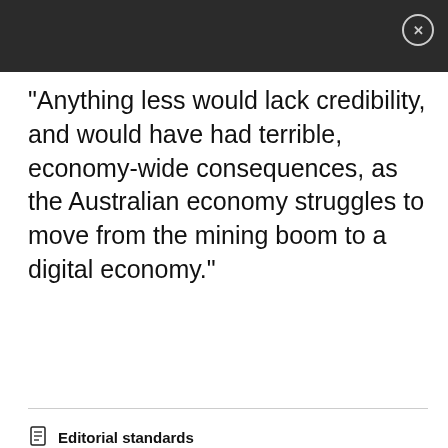"Anything less would lack credibility, and would have had terrible, economy-wide consequences, as the Australian economy struggles to move from the mining boom to a digital economy."
Editorial standards
show comments ↓